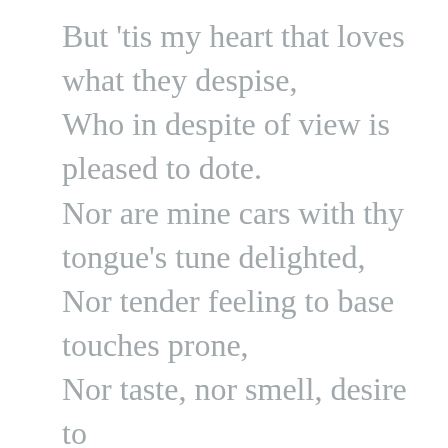But 'tis my heart that loves what they despise, Who in despite of view is pleased to dote. Nor are mine cars with thy tongue's tune delighted, Nor tender feeling to base touches prone, Nor taste, nor smell, desire to be invited To any sensual feast with thee